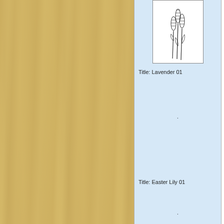[Figure (illustration): Line drawing illustration of lavender plant stems with flower buds at the top, shown in black and white on a white background with a border]
Title: Lavender 01
.
Title: Easter Lily 01
.